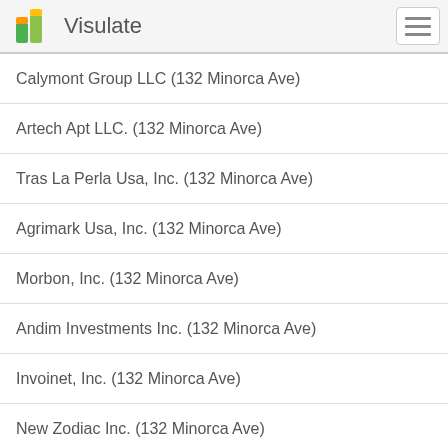Visulate
Calymont Group LLC (132 Minorca Ave)
Artech Apt LLC. (132 Minorca Ave)
Tras La Perla Usa, Inc. (132 Minorca Ave)
Agrimark Usa, Inc. (132 Minorca Ave)
Morbon, Inc. (132 Minorca Ave)
Andim Investments Inc. (132 Minorca Ave)
Invoinet, Inc. (132 Minorca Ave)
New Zodiac Inc. (132 Minorca Ave)
Fernando L.Ortiz Pa. (132 Minorca Ave)
Castello Cabiaglio Inc. (132 Minorca Ave)